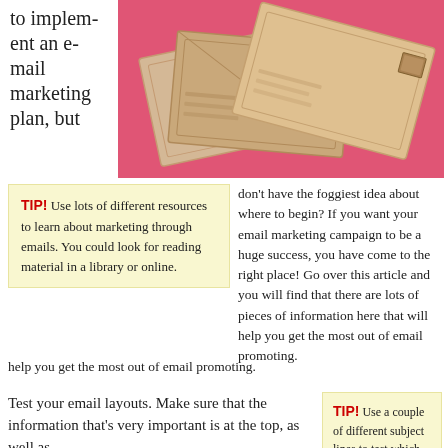to implement an e-mail marketing plan, but
[Figure (photo): Photo of several kraft/manila envelopes fanned out on a pink background]
TIP! Use lots of different resources to learn about marketing through emails. You could look for reading material in a library or online.
don't have the foggiest idea about where to begin? If you want your email marketing campaign to be a huge success, you have come to the right place! Go over this article and you will find that there are lots of pieces of information here that will help you get the most out of email promoting.
Test your email layouts. Make sure that the information that's very important is at the top, as well as
TIP! Use a couple of different subject lines to test which one has a